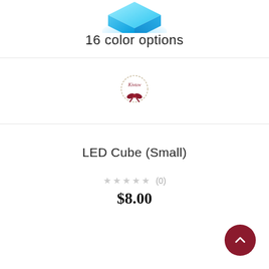[Figure (illustration): Partial view of a glowing blue LED cube at the top of the page]
16 color options
[Figure (logo): Small decorative logo/brand mark with ribbon and text, in red/maroon tones]
LED Cube (Small)
★★★★★ (0)
$8.00
[Figure (other): Dark red circular scroll-to-top button with upward chevron arrow, bottom right corner]